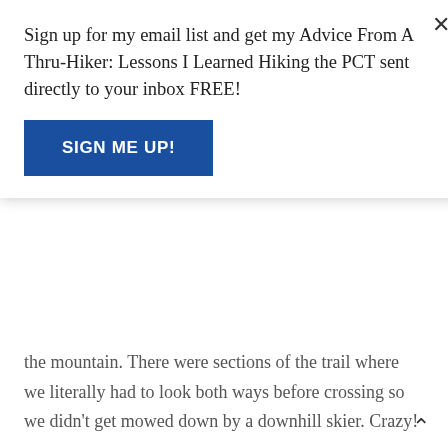Sign up for my email list and get my Advice From A Thru-Hiker: Lessons I Learned Hiking the PCT sent directly to your inbox FREE!
SIGN ME UP!
the mountain. There were sections of the trail where we literally had to look both ways before crossing so we didn't get mowed down by a downhill skier. Crazy!
For the first eight or nine miles out of Timberline, we hiked over snow patches and snow fields. Bleeder had no problem navigating over the snow. I, on the other hand, struggled. Neither one of us put our microspikes on. Spikes wouldn't have been much help anyways because the snow was super slushy and slippery. I slipped and slid everywhere. At one point, I even